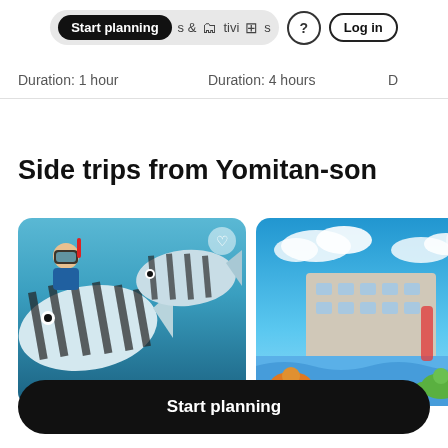Start planning | & Activities | ? | Log in
Duration: 1 hour  Duration: 4 hours
Side trips from Yomitan-son
[Figure (photo): Underwater snorkeling photo showing striped tropical fish and a diver with mask and snorkel]
[Figure (photo): Outdoor resort area with blue sky, modern building, colorful turtle sculptures and water feature]
Start planning